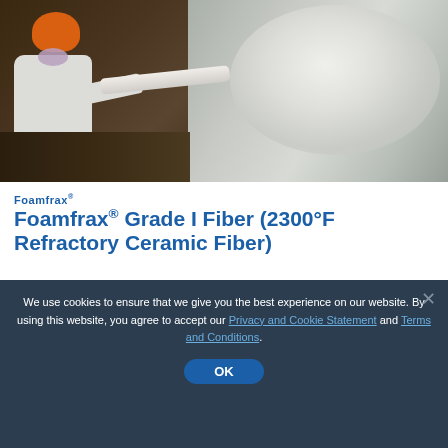[Figure (photo): Worker in protective suit and orange helmet spraying white refractory ceramic fiber material onto a surface, white fibrous spray visible on the right side]
Foamfrax®
Foamfrax® Grade I Fiber (2300°F Refractory Ceramic Fiber)
Furnace Lining Products
| Estimated Temperature |
| --- |
| 2300°F / 1260°C |
We use cookies to ensure that we give you the best experience on our website. By using this website, you agree to accept our Privacy and Cookie Statement and Terms and Conditions.